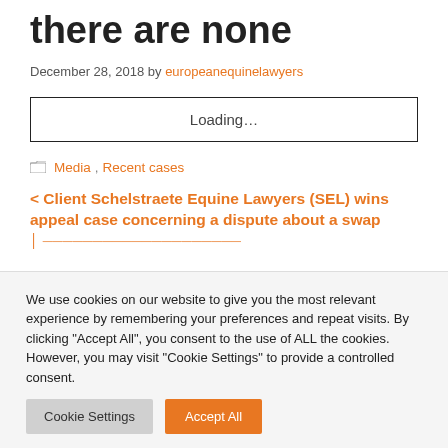there are none
December 28, 2018 by europeanequinelawyers
[Figure (other): Loading... placeholder box]
Media, Recent cases
< Client Schelstraete Equine Lawyers (SEL) wins appeal case concerning a dispute about a swap
We use cookies on our website to give you the most relevant experience by remembering your preferences and repeat visits. By clicking "Accept All", you consent to the use of ALL the cookies. However, you may visit "Cookie Settings" to provide a controlled consent.